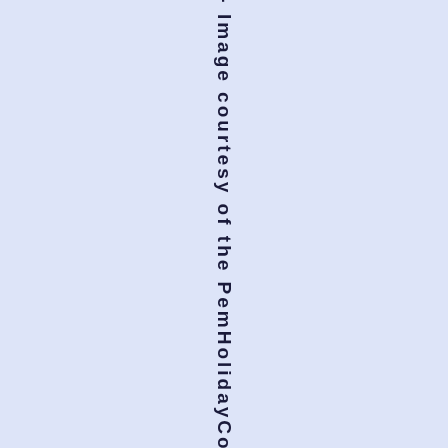[Figure (other): Vertical watermark text reading 'Image courtesy of the PemHolidayCo...' rotated 90 degrees, displayed on a light blue/lavender background]